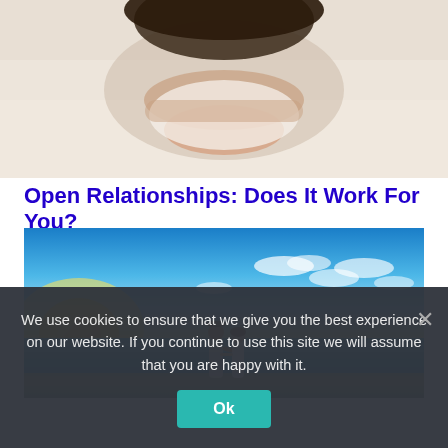[Figure (photo): Woman lying in bed with white sheets, arms crossed, viewed from above]
Open Relationships: Does It Work For You?
[Figure (photo): Couple walking on a beach at sunset with vibrant blue sky and golden sun on the horizon]
We use cookies to ensure that we give you the best experience on our website. If you continue to use this site we will assume that you are happy with it.